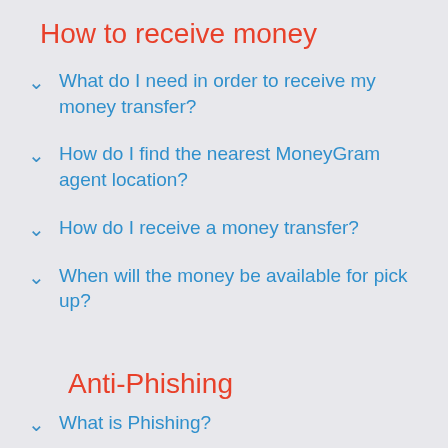How to receive money
What do I need in order to receive my money transfer?
How do I find the nearest MoneyGram agent location?
How do I receive a money transfer?
When will the money be available for pick up?
Anti-Phishing
What is Phishing?
How do I recognize Phishing?